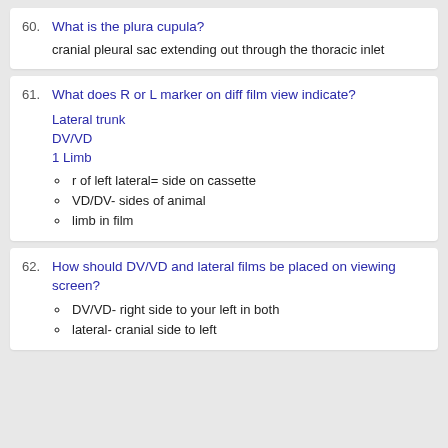60. What is the plura cupula?
cranial pleural sac extending out through the thoracic inlet
61. What does R or L marker on diff film view indicate?
Lateral trunk
DV/VD
1 Limb
- r of left lateral= side on cassette
- VD/DV- sides of animal
- limb in film
62. How should DV/VD and lateral films be placed on viewing screen?
- DV/VD- right side to your left in both
- lateral- cranial side to left